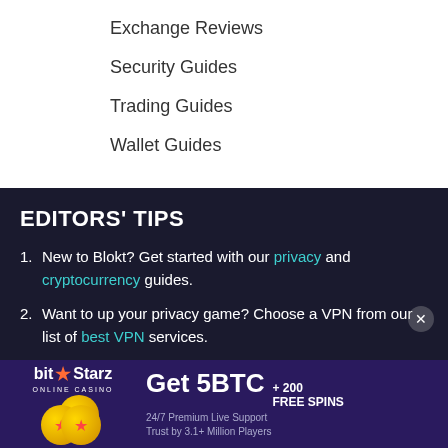Exchange Reviews
Security Guides
Trading Guides
Wallet Guides
EDITORS' TIPS
New to Blokt? Get started with our privacy and cryptocurrency guides.
Want to up your privacy game? Choose a VPN from our list of best VPN services.
[Figure (infographic): BitStarz Online Casino advertisement banner: Get 5BTC + 200 FREE SPINS, 24/7 Premium Live Support, Trust by 3.1+ Million Players]